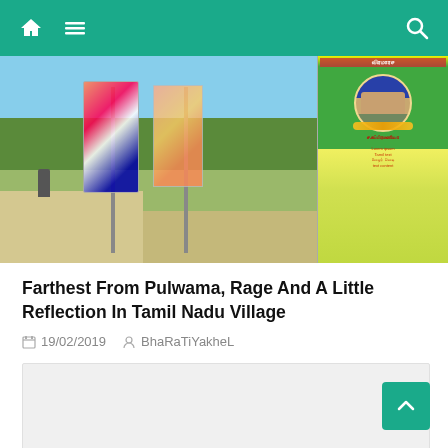Navigation bar with home icon, menu icon, and search icon
[Figure (photo): Outdoor scene with banners/posters displayed on roadside poles in a Tamil Nadu village. Right side shows a close-up of a memorial poster with a soldier in military uniform wearing a beret and flower garland, with Tamil text. Background shows trees and a street.]
Farthest From Pulwama, Rage And A Little Reflection In Tamil Nadu Village
19/02/2019   BhaRaTiYakheL